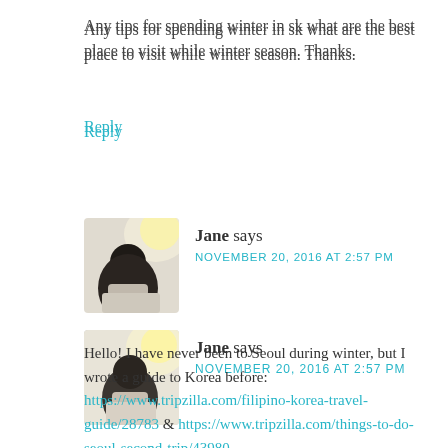Any tips for spending winter in sk what are the best place to visit while winter season. Thanks.
Reply
[Figure (photo): Avatar/profile photo of commenter Jane showing a person from behind against a bright background]
Jane says NOVEMBER 20, 2016 AT 2:57 PM
Hello! I have never been to Seoul during winter, but I wrote a guide to Korea before: https://www.tripzilla.com/filipino-korea-travel-guide/28783 & https://www.tripzilla.com/things-to-do-seoul-second-trip/43980
You can also check out the following tags:
https://www.janegalvez.com/tag/korya-trip/
https://www.janegalvez.com/tag/korea-2014/